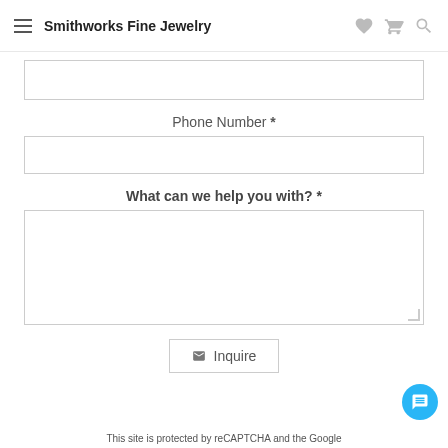Smithworks Fine Jewelry
Phone Number *
What can we help you with? *
Inquire
This site is protected by reCAPTCHA and the Google